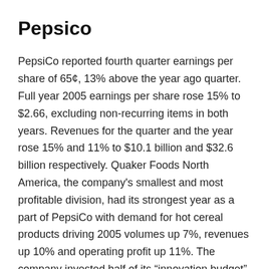Pepsico
PepsiCo reported fourth quarter earnings per share of 65¢, 13% above the year ago quarter. Full year 2005 earnings per share rose 15% to $2.66, excluding non-recurring items in both years. Revenues for the quarter and the year rose 15% and 11% to $10.1 billion and $32.6 billion respectively. Quaker Foods North America, the company's smallest and most profitable division, had its strongest year as a part of PepsiCo with demand for hot cereal products driving 2005 volumes up 7%, revenues up 10% and operating profit up 11%. The company invested half of its “innovation budget” in health and wellness products. Revenues from “SmartSpot” labeled products grew twice as fast as those